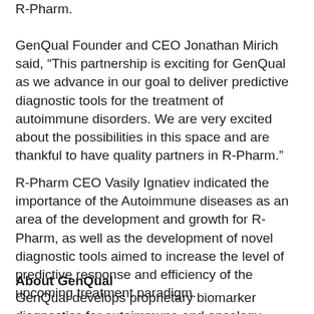R-Pharm.
GenQual Founder and CEO Jonathan Mirich said, “This partnership is exciting for GenQual as we advance in our goal to deliver predictive diagnostic tools for the treatment of autoimmune disorders. We are very excited about the possibilities in this space and are thankful to have quality partners in R-Pharm.”
R-Pharm CEO Vasily Ignatiev indicated the importance of the Autoimmune diseases as an area of the development and growth for R-Pharm, as well as the development of novel diagnostic tools aimed to increase the level of predictive response and efficiency of the upcoming treatment paradigm.
About GenQual
GenQual develops proprietary biomarker diagnostics for autoimmune and oncology indications.  Our personalized medicine products are designed to facilitate early disease